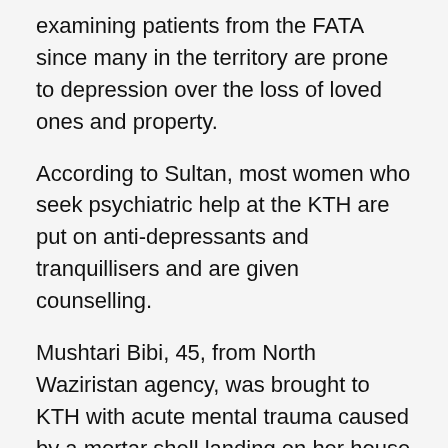examining patients from the FATA since many in the territory are prone to depression over the loss of loved ones and property.
According to Sultan, most women who seek psychiatric help at the KTH are put on anti-depressants and tranquillisers and are given counselling.
Mushtari Bibi, 45, from North Waziristan agency, was brought to KTH with acute mental trauma caused by a mortar shell landing on her house and killing her 10-year-old son. “She cries for her son at night and cannot sleep until she is given sedative medication,” Sultan said.
Rekhana Bibi, 49, a resident of Khyber agency, told IPS that her son Abdul Salam, a 9th standard student, went out of the house one evening in January and was never seen alive again. “The next day we found his bullet-